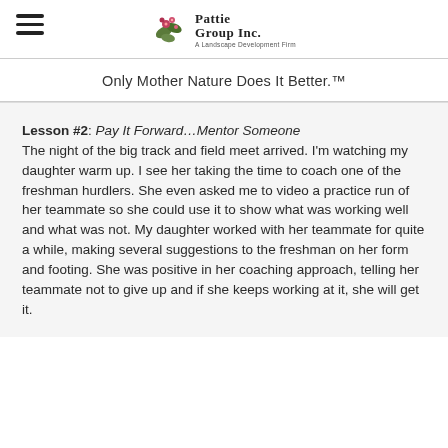Pattie Group Inc. — A Landscape Development Firm
Only Mother Nature Does It Better.™
Lesson #2: Pay It Forward…Mentor Someone
The night of the big track and field meet arrived. I'm watching my daughter warm up. I see her taking the time to coach one of the freshman hurdlers. She even asked me to video a practice run of her teammate so she could use it to show what was working well and what was not. My daughter worked with her teammate for quite a while, making several suggestions to the freshman on her form and footing. She was positive in her coaching approach, telling her teammate not to give up and if she keeps working at it, she will get it.